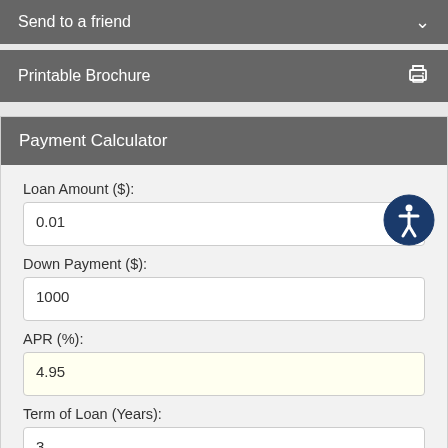Send to a friend
Printable Brochure
Payment Calculator
Loan Amount ($):
0.01
Down Payment ($):
1000
APR (%):
4.95
Term of Loan (Years):
3